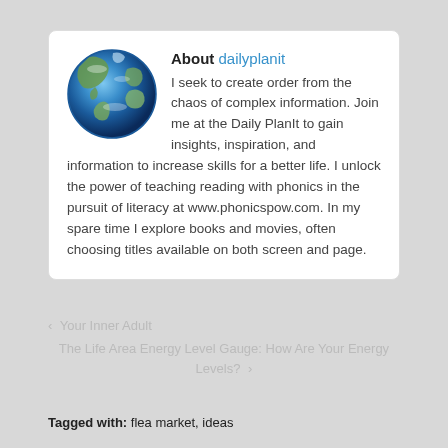[Figure (illustration): Globe/Earth image shown as a circular avatar]
About dailyplanit
I seek to create order from the chaos of complex information. Join me at the Daily PlanIt to gain insights, inspiration, and information to increase skills for a better life. I unlock the power of teaching reading with phonics in the pursuit of literacy at www.phonicspow.com. In my spare time I explore books and movies, often choosing titles available on both screen and page.
‹  Your Inner Adult
The Life Area Energy Level Gauge: How Are Your Energy Levels?  ›
Tagged with: flea market, ideas